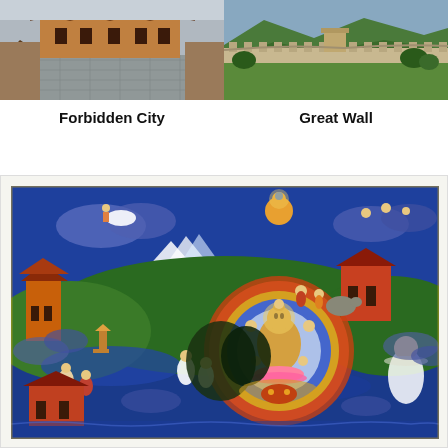[Figure (photo): Aerial/ground view of the Forbidden City rooftops and courtyard in China]
[Figure (photo): View of the Great Wall of China winding through green hills]
Forbidden City
Great Wall
[Figure (illustration): Colorful Tibetan Buddhist thangka painting showing Buddha seated in a mandala surrounded by numerous deities, figures, mountains, temples, and narrative scenes on a rich blue and green background]